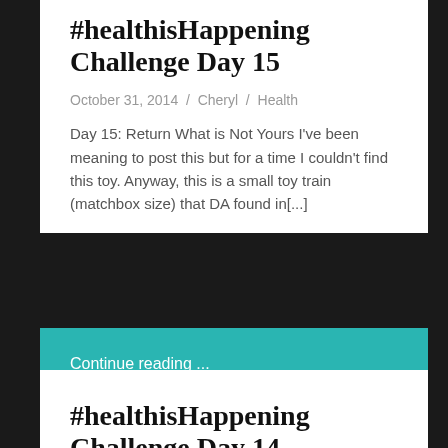#healthisHappening Challenge Day 15
October 31, 2014  /  Cheryl  /  Health
Day 15: Return What is Not Yours I've been meaning to post this but for a time I couldn't find this toy. Anyway, this is a small toy train (matchbox size) that DA found in[...]
Continue reading ...
#healthisHappening Challenge Day 14